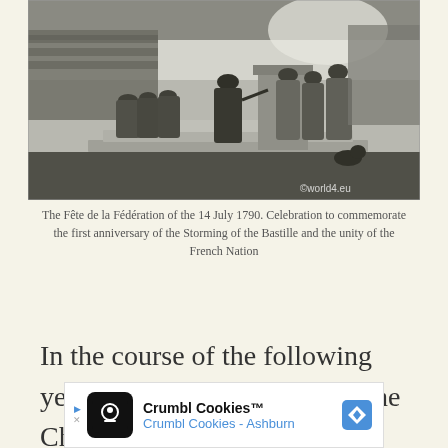[Figure (illustration): Historical engraving of the Fête de la Fédération, 14 July 1790. Shows a ceremonial scene with figures in 18th-century attire on a stepped platform/altar, crowds in background, black and white illustration. Watermark: ©world4.eu]
The Fête de la Fédération of the 14 July 1790. Celebration to commemorate the first anniversary of the Storming of the Bastille and the unity of the French Nation
In the course of the following year, 1790, the Federation at the Champs de Mars was commemorated by the creation of the
[Figure (other): Advertisement banner for Crumbl Cookies - Ashburn]